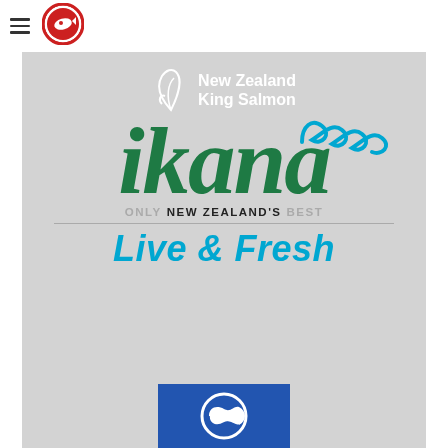[Figure (logo): Fisheries New Zealand circular logo with hamburger menu icon on the left]
[Figure (logo): New Zealand King Salmon logo in white with leaf/fish motif]
[Figure (logo): ikana brand logo on gray background with decorative teal wave, green italic text 'ikana', tagline 'ONLY NEW ZEALAND'S BEST' and 'Live & Fresh' in teal italic, and partial blue fish logo at bottom]